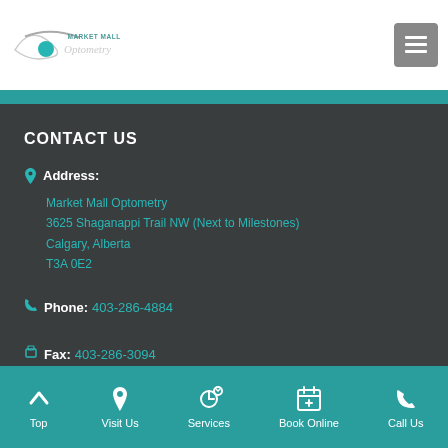[Figure (logo): Market Mall Optometry logo with eye graphic and script text]
CONTACT US
Address:
Market Mall Optometry
3625 Shaganappi Trail NW (Next to Milestones)
Calgary, Alberta
T3A 0E2
Phone: 403-286-4884
Fax: 403-286-3094
Top | Visit Us | Services | Book Online | Call Us